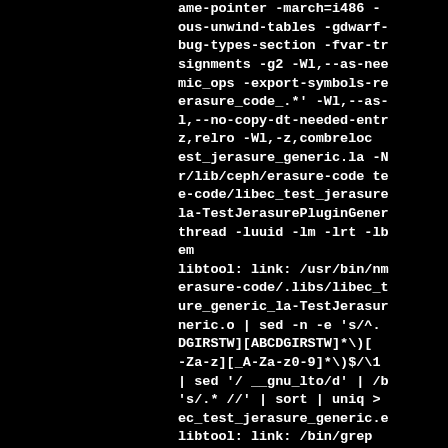ame-pointer -march=i486 -ous-unwind-tables -gdwarf-bug-types-section -fvar-tr signments -g2 -Wl,--as-nee mic_ops -export-symbols-re erasure_code_.*' -Wl,--as- l,--no-copy-dt-needed-entr z,relro -Wl,-z,combreloc est_jerasure_generic.la -N r/lib/ceph/erasure-code te e-code/libec_test_jerasure la-TestJerasurePluginGener thread -luuid -lm -lrt -lb em libtool: link: /usr/bin/nm erasure-code/.libs/libec_t ure_generic_la-TestJerasur neric.o | sed -n -e 's/^. DGIRSTW][ABCDGIRSTW]*\)[ -Za-z][_A-Za-z0-9]*\)$/\1 | sed '/ __gnu_lto/d' | /b 's/.* //' | sort | uniq > ec_test_jerasure_generic.e libtool: link: /bin/grep